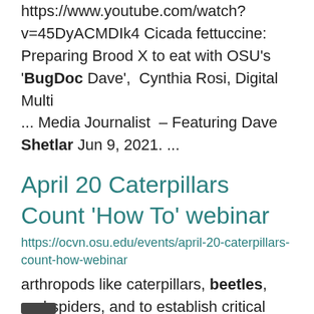https://www.youtube.com/watch?v=45DyACMDIk4 Cicada fettuccine: Preparing Brood X to eat with OSU's 'BugDoc Dave',  Cynthia Rosi, Digital Multi ... Media Journalist  – Featuring Dave Shetlar Jun 9, 2021. ...
April 20 Caterpillars Count 'How To' webinar
https://ocvn.osu.edu/events/april-20-caterpillars-count-how-webinar
arthropods like caterpillars, beetles, and spiders, and to establish critical baseline data for evaluating ...